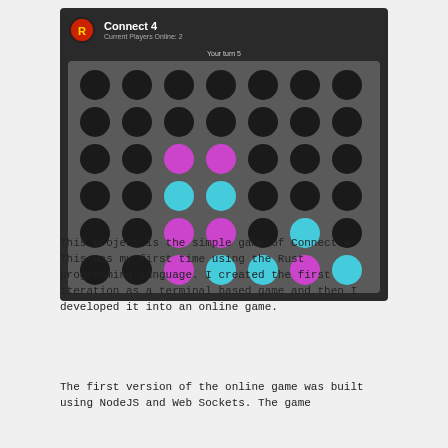[Figure (screenshot): Screenshot of a Connect 4 online game. Dark background with header showing a logo, 'Connect 4' title and 'Current Players Online: 2'. A 6x7 grid of circles on a grey board: most circles are dark/black, with some purple and cyan pieces placed in the lower rows. Text 'Your turn 5' appears above the board.]
This project is the simple game of Connect 4. This was my first time using the Rust programming language. I created the first iteration as a terminal based game and then I developed it into an online game.
The first version of the online game was built using NodeJS and Web Sockets. The game